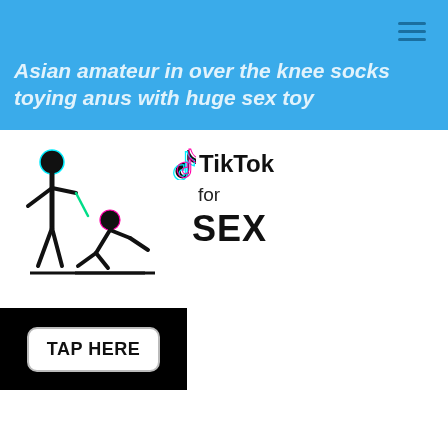Asian amateur in over the knee socks toying anus with huge sex toy
[Figure (illustration): Stick figure adult content illustration alongside TikTok logo with text 'TikTok for SEX' and a 'TAP HERE' button on black background]